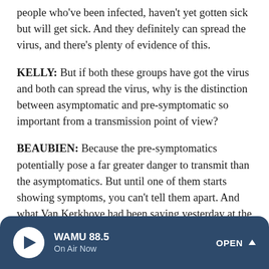people who've been infected, haven't yet gotten sick but will get sick. And they definitely can spread the virus, and there's plenty of evidence of this.
KELLY: But if both these groups have got the virus and both can spread the virus, why is the distinction between asymptomatic and pre-symptomatic so important from a transmission point of view?
BEAUBIEN: Because the pre-symptomatics potentially pose a far greater danger to transmit than the asymptomatics. But until one of them starts showing symptoms, you can't tell them apart. And what Van Kerkhove had been saying yesterday at the press conference - saying it was very rare to see documented cases of an asymptomatic person
[Figure (other): WAMU 88.5 radio player bar with play button, station name 'WAMU 88.5', 'On Air Now' text, and OPEN button with caret]